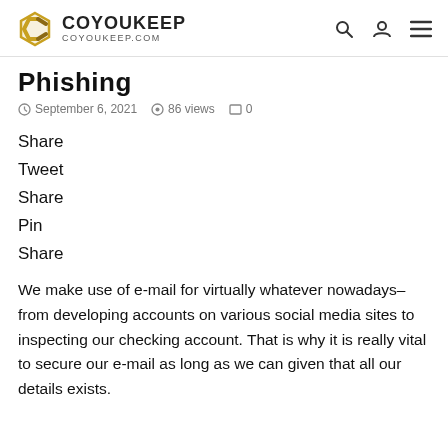COYOUKEEP COYOUKEEP.COM
Phishing
September 6, 2021  86 views  0
Share
Tweet
Share
Pin
Share
We make use of e-mail for virtually whatever nowadays–from developing accounts on various social media sites to inspecting our checking account. That is why it is really vital to secure our e-mail as long as we can given that all our details exists.